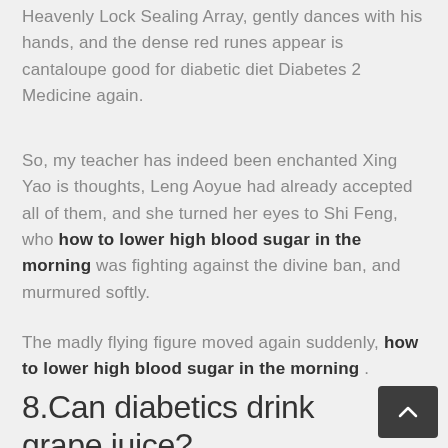Heavenly Lock Sealing Array, gently dances with his hands, and the dense red runes appear is cantaloupe good for diabetic diet Diabetes 2 Medicine again.
So, my teacher has indeed been enchanted Xing Yao is thoughts, Leng Aoyue had already accepted all of them, and she turned her eyes to Shi Feng, who how to lower high blood sugar in the morning was fighting against the divine ban, and murmured softly.
The madly flying figure moved again suddenly, how to lower high blood sugar in the morning .
8.Can diabetics drink grape juice?